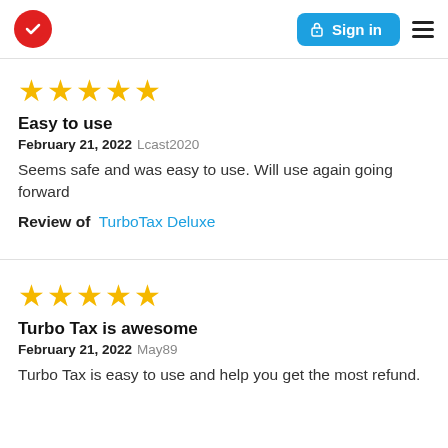TurboTax [logo] | Sign in | Menu
[Figure (other): Five gold stars rating]
Easy to use
February 21, 2022 Lcast2020
Seems safe and was easy to use. Will use again going forward
Review of  TurboTax Deluxe
[Figure (other): Five gold stars rating]
Turbo Tax is awesome
February 21, 2022 May89
Turbo Tax is easy to use and help you get the most refund.